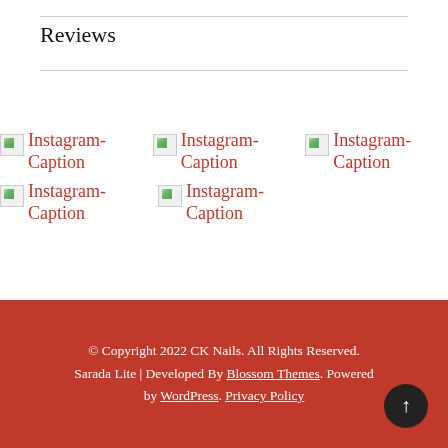Reviews
[Figure (other): Grid of 5 Instagram placeholder images with broken image icons and red 'Instagram-Caption' alt text labels, arranged in two rows (3 top, 2 bottom). Below the grid is a Follow Me! button with Instagram icon.]
© Copyright 2022 CK Nails. All Rights Reserved. Sarada Lite | Developed By Blossom Themes. Powered by WordPress. Privacy Policy